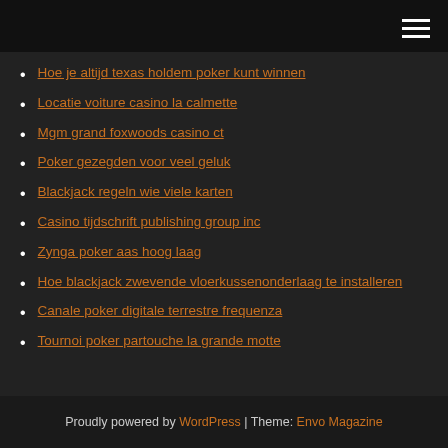[navigation bar with hamburger menu]
Hoe je altijd texas holdem poker kunt winnen
Locatie voiture casino la calmette
Mgm grand foxwoods casino ct
Poker gezegden voor veel geluk
Blackjack regeln wie viele karten
Casino tijdschrift publishing group inc
Zynga poker aas hoog laag
Hoe blackjack zwevende vloerkussenonderlaag te installeren
Canale poker digitale terrestre frequenza
Tournoi poker partouche la grande motte
Proudly powered by WordPress | Theme: Envo Magazine